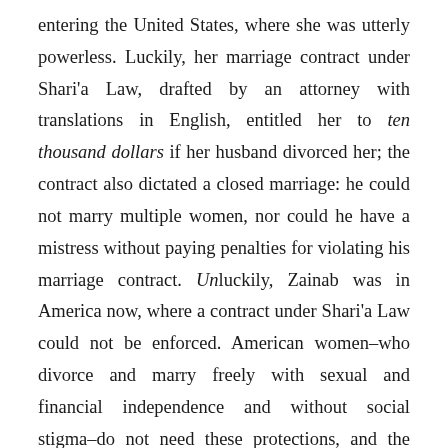entering the United States, where she was utterly powerless. Luckily, her marriage contract under Shari'a Law, drafted by an attorney with translations in English, entitled her to ten thousand dollars if her husband divorced her; the contract also dictated a closed marriage: he could not marry multiple women, nor could he have a mistress without paying penalties for violating his marriage contract. Unluckily, Zainab was in America now, where a contract under Shari'a Law could not be enforced. American women–who divorce and marry freely with sexual and financial independence and without social stigma–do not need these protections, and the court system reflects this society: reasons for a divorce like adultery or abandonment are understood as irrelevant: